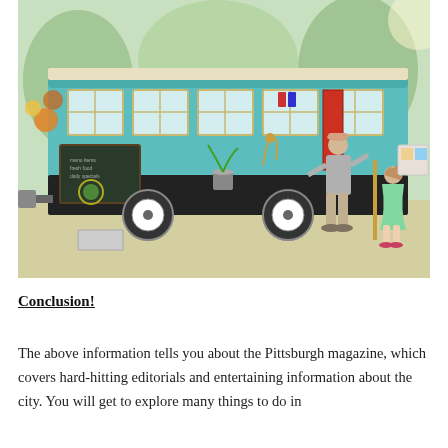[Figure (photo): A teal/turquoise food truck with large windows open for service. A man in a gray shirt and cap is ordering at the window, and a young girl in a green dress stands nearby. There is a chalkboard menu sign on the side of the truck, a decorative deer figure, flowers, and plants. The setting is outdoors with trees visible in the background.]
Conclusion!
The above information tells you about the Pittsburgh magazine, which covers hard-hitting editorials and entertaining information about the city. You will get to explore many things to do in